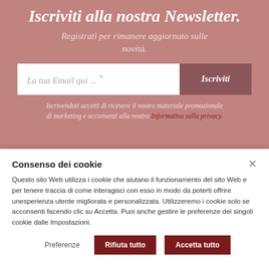Iscriviti alla nostra Newsletter.
Registrati per rimanere aggiornato sulle novità.
La tua Email qui ... *
Iscriviti
Iscrivendoti accetti di ricevere il nostro materiale promozionale di marketing e acconsenti alla nostra Informativa sulla privacy.
Consenso dei cookie
Questo sito Web utilizza i cookie che aiutano il funzionamento del sito Web e per tenere traccia di come interagisci con esso in modo da poterti offrire unesperienza utente migliorata e personalizzata. Utilizzeremo i cookie solo se acconsenti facendo clic su Accetta. Puoi anche gestire le preferenze dei singoli cookie dalle Impostazioni.
Preferenze
Rifiuta tutto
Accetta tutto